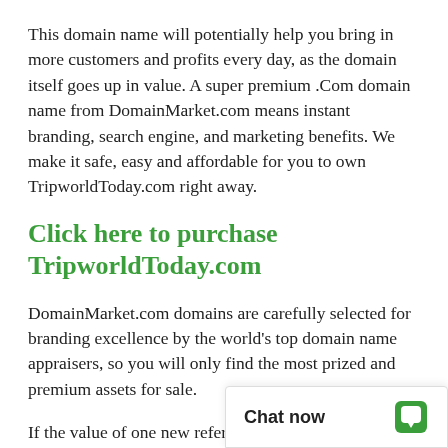This domain name will potentially help you bring in more customers and profits every day, as the domain itself goes up in value. A super premium .Com domain name from DomainMarket.com means instant branding, search engine, and marketing benefits. We make it safe, easy and affordable for you to own TripworldToday.com right away.
Click here to purchase TripworldToday.com
DomainMarket.com domains are carefully selected for branding excellence by the world's top domain name appraisers, so you will only find the most prized and premium assets for sale.
If the value of one new references makes up f